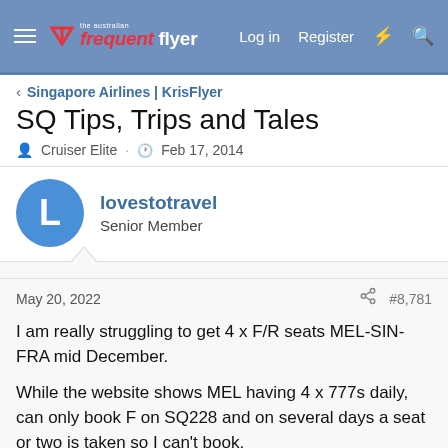The Australian Frequent Flyer — Log in | Register
Singapore Airlines | KrisFlyer
SQ Tips, Trips and Tales
Cruiser Elite · Feb 17, 2014
lovestotravel
Senior Member
May 20, 2022	#8,781
I am really struggling to get 4 x F/R seats MEL-SIN-FRA mid December.

While the website shows MEL having 4 x 777s daily, can only book F on SQ228 and on several days a seat or two is taken so I can't book.
Then even getting 4 x R SIN-FRA is hard as 2-3 seats are booked on lots of mid December flights as well.